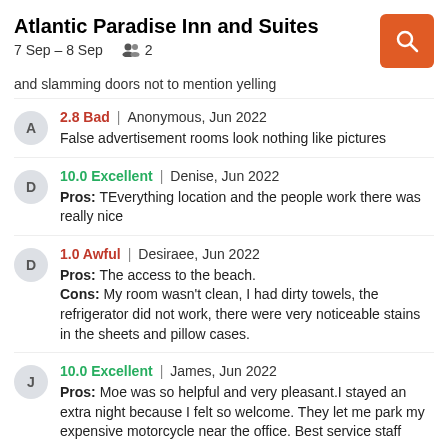Atlantic Paradise Inn and Suites
7 Sep – 8 Sep   👥 2
and slamming doors not to mention yelling
2.8 Bad | Anonymous, Jun 2022 — False advertisement rooms look nothing like pictures
10.0 Excellent | Denise, Jun 2022 — Pros: TEverything location and the people work there was really nice
1.0 Awful | Desiraee, Jun 2022 — Pros: The access to the beach. Cons: My room wasn't clean, I had dirty towels, the refrigerator did not work, there were very noticeable stains in the sheets and pillow cases.
10.0 Excellent | James, Jun 2022 — Pros: Moe was so helpful and very pleasant.I stayed an extra night because I felt so welcome. They let me park my expensive motorcycle near the office. Best service staff ever. Cons: Coffee maker in my room would have been a bonus.